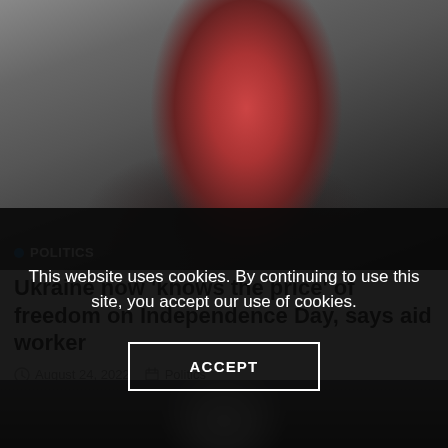[Figure (photo): Photo of a child in a red jacket, partially visible adults in background, dark atmospheric image]
POLITICS
Ukraine now 'knows the price' of freedom on Independence Day, says aid worker
August 24, 2022   Politics
[Figure (photo): Photo of a bald man, dark background, sports/football context]
This website uses cookies. By continuing to use this site, you accept our use of cookies.
ACCEPT